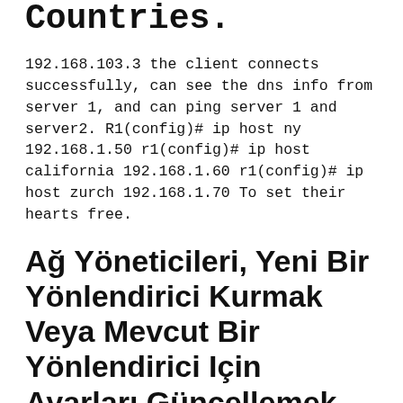Countries.
192.168.103.3 the client connects successfully, can see the dns info from server 1, and can ping server 1 and server2. R1(config)# ip host ny 192.168.1.50 r1(config)# ip host california 192.168.1.60 r1(config)# ip host zurch 192.168.1.70 To set their hearts free.
Ağ Yöneticileri, Yeni Bir Yönlendirici Kurmak Veya Mevcut Bir Yönlendirici Için Ayarları Güncellemek Için Bu Adresi Kullanır.
In the map to ip text box, enter the internal ip address of the web server. *d tuning suggested cmrightqlzuil by dana l. How to change your ip